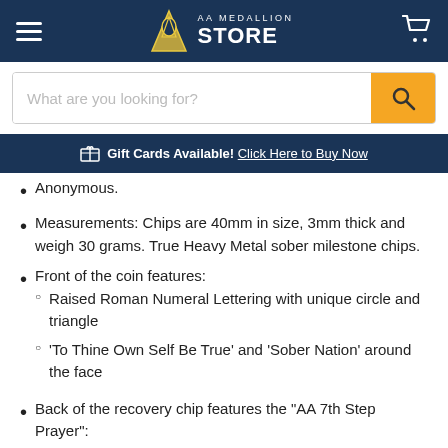AA Medallion Store
What are you looking for?
Gift Cards Available! Click Here to Buy Now
Anonymous.
Measurements: Chips are 40mm in size, 3mm thick and weigh 30 grams. True Heavy Metal sober milestone chips.
Front of the coin features:
Raised Roman Numeral Lettering with unique circle and triangle
'To Thine Own Self Be True' and 'Sober Nation' around the face
Back of the recovery chip features the "AA 7th Step Prayer":
My Creator, I am now willing that you should have all of me, good and bad. I pray that you now remove from me every...